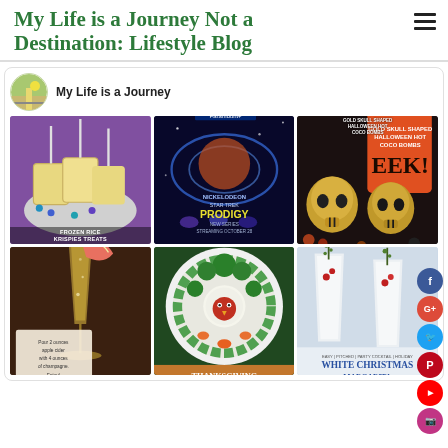My Life is a Journey Not a Destination: Lifestyle Blog
My Life is a Journey
[Figure (photo): Frozen Rice Krispies Treats on a plate with purple/teal decorations]
[Figure (photo): Star Trek Prodigy - Nickelodeon/Paramount+ animated series movie poster, new series streaming October 28]
[Figure (photo): Gold skull-shaped Halloween hot cocoa bombs with EEK! text on orange bag]
[Figure (photo): Apple cider champagne cocktail with apple slice garnish and recipe text]
[Figure (photo): Thanksgiving vegetable turkey platter arrangement]
[Figure (photo): White Christmas Margarita - Easy Pitched Party Cocktail Holiday drink with two glasses]